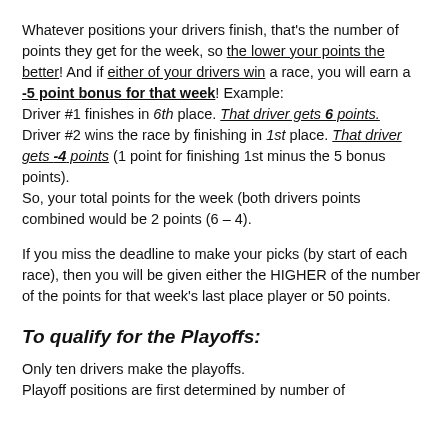Whatever positions your drivers finish, that's the number of points they get for the week, so the lower your points the better! And if either of your drivers win a race, you will earn a -5 point bonus for that week! Example: Driver #1 finishes in 6th place. That driver gets 6 points. Driver #2 wins the race by finishing in 1st place. That driver gets -4 points (1 point for finishing 1st minus the 5 bonus points). So, your total points for the week (both drivers points combined would be 2 points (6 – 4).
If you miss the deadline to make your picks (by start of each race), then you will be given either the HIGHER of the number of the points for that week's last place player or 50 points.
To qualify for the Playoffs:
Only ten drivers make the playoffs. Playoff positions are first determined by number of